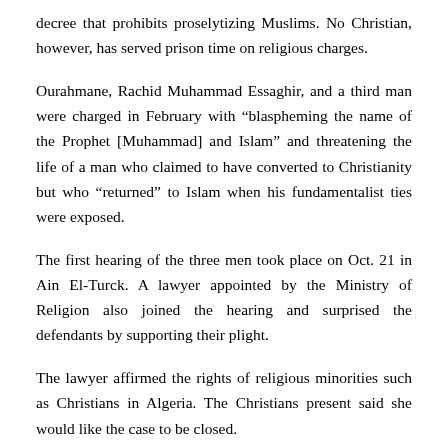decree that prohibits proselytizing Muslims. No Christian, however, has served prison time on religious charges.
Ourahmane, Rachid Muhammad Essaghir, and a third man were charged in February with “blaspheming the name of the Prophet [Muhammad] and Islam” and threatening the life of a man who claimed to have converted to Christianity but who “returned” to Islam when his fundamentalist ties were exposed.
The first hearing of the three men took place on Oct. 21 in Ain El-Turck. A lawyer appointed by the Ministry of Religion also joined the hearing and surprised the defendants by supporting their plight.
The lawyer affirmed the rights of religious minorities such as Christians in Algeria. The Christians present said she would like the case to be closed.